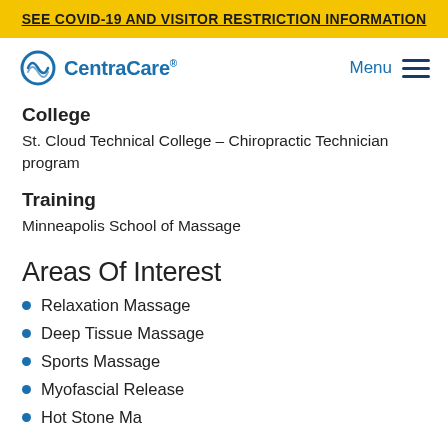SEE COVID-19 AND VISITOR RESTRICTION INFORMATION
[Figure (logo): CentraCare logo with circular wave icon and blue text]
College
St. Cloud Technical College – Chiropractic Technician program
Training
Minneapolis School of Massage
Areas Of Interest
Relaxation Massage
Deep Tissue Massage
Sports Massage
Myofascial Release
Hot Stone Massage